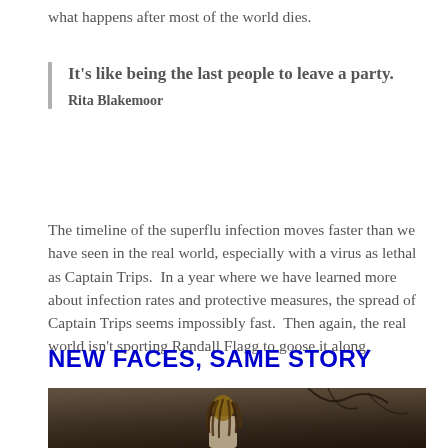what happens after most of the world dies.
It's like being the last people to leave a party.
Rita Blakemoor
The timeline of the superflu infection moves faster than we have seen in the real world, especially with a virus as lethal as Captain Trips.  In a year where we have learned more about infection rates and protective measures, the spread of Captain Trips seems impossibly fast.  Then again, the real world isn't sporting Randall Flagg to goose it along.
NEW FACES, SAME STORY
[Figure (photo): A person with dreadlocks standing in a dark, atmospheric setting with bare branches visible in the background.]